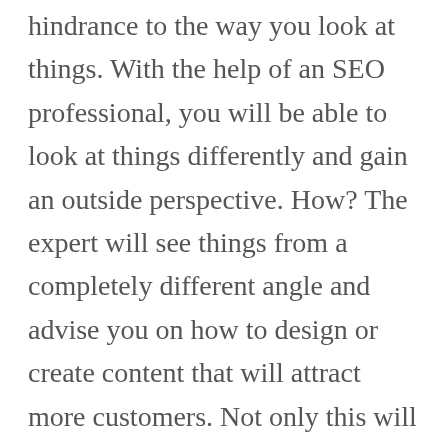hindrance to the way you look at things. With the help of an SEO professional, you will be able to look at things differently and gain an outside perspective. How? The expert will see things from a completely different angle and advise you on how to design or create content that will attract more customers. Not only this will refresh the SEO strategy, but it will also grant you access to more leads.
Stay Updated
You will be surprised to know that the search